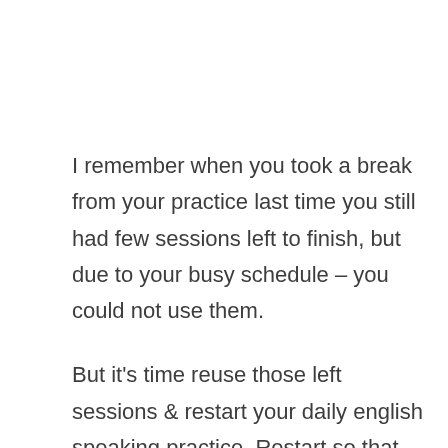I remember when you took a break from your practice last time you still had few sessions left to finish, but due to your busy schedule – you could not use them.
But it's time reuse those left sessions & restart your daily english speaking practice. Restart so that you can transform your dream to speak fluent english in reality.